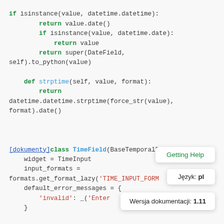if isinstance(value, datetime.datetime):
            return value.date()
        if isinstance(value, datetime.date):
            return value
        return super(DateField,
self).to_python(value)

    def strptime(self, value, format):
        return
datetime.datetime.strptime(force_str(value),
format).date()

[dokumenty]class TimeField(BaseTemporalField):
    widget = TimeInput
    input_formats =
formats.get_format_lazy('TIME_INPUT_FORM
    default_error_messages = {
        'invalid': _('Enter
    }
Getting Help
Język: pl
Wersja dokumentacji: 1.11